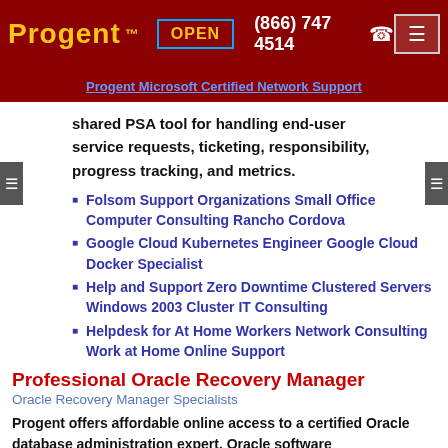Progent TM  OPEN  (866) 747 4514
Progent Microsoft Certified Network Support
shared PSA tool for handling end-user service requests, ticketing, responsibility, progress tracking, and metrics.
Folsom Support Organizations Small Office Computer Consulting Rancho Cordova
Google Cloud Kubernetes Engineer Google Cloud Docker Specialist
Help and Support Zero Downtime Clustered Servers Windows 2003 Cluster IT Consulting
Helpdesk for At Home Workers Network Consulting Work at Home Online Support
Professional Oracle Recovery Manager
Oracle Recovery Manager Specialists
Progent offers affordable online access to a certified Oracle database administration expert. Oracle software